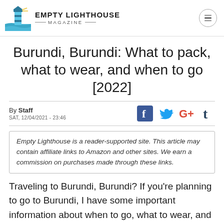Empty Lighthouse Magazine
Burundi, Burundi: What to pack, what to wear, and when to go [2022]
By Staff
SAT, 12/04/2021 - 23:46
Empty Lighthouse is a reader-supported site. This article may contain affiliate links to Amazon and other sites. We earn a commission on purchases made through these links.
Traveling to Burundi, Burundi? If you're planning to go to Burundi, I have some important information about when to go, what to wear, and what to pack.